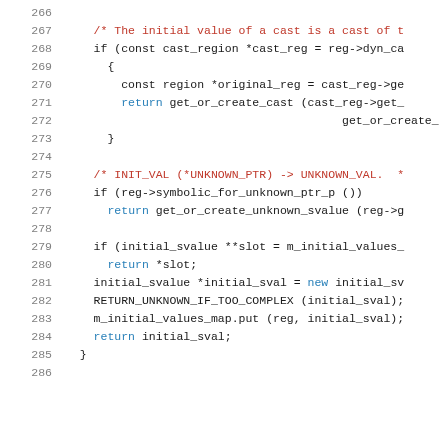[Figure (screenshot): Source code listing lines 266-286 in C++ showing a method with cast region logic, unknown pointer handling, and initial svalue map operations.]